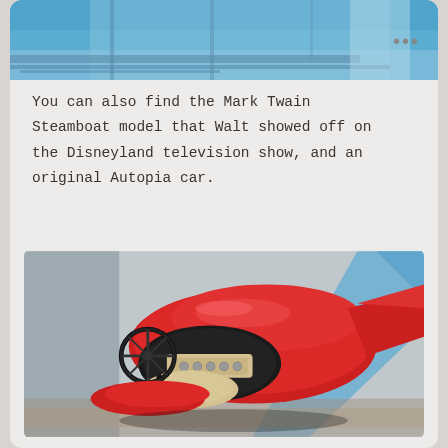[Figure (photo): Top partial photo showing blue Disneyland attraction or ride structure with railing, cropped at top of card]
You can also find the Mark Twain Steamboat model that Walt showed off on the Disneyland television show, and an original Autopia car.
[Figure (photo): Photo of a vintage red Autopia car from Disneyland, viewed from above showing the steering wheel, dashboard with gauges, and red body, with blue striped wall in background]